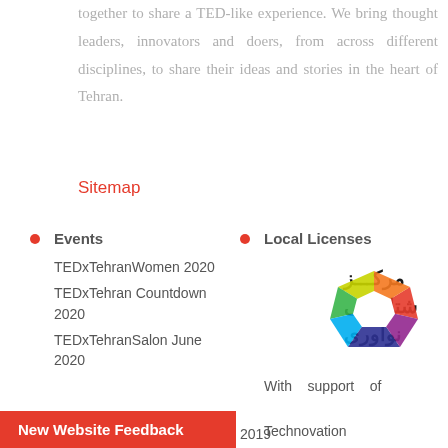together to share a TED-like experience. We bring thought leaders, innovators and doers, from across different disciplines, to share their ideas and stories in the heart of Tehran.
Sitemap
Events
TEDxTehranWomen 2020
TEDxTehran Countdown 2020
TEDxTehranSalon June 2020
Local Licenses
[Figure (logo): Technovation / innovation acceleration center logo with Arabic/Persian text and a colorful heptagonal gem shape]
With support of Technovation
New Website Feedback
2019